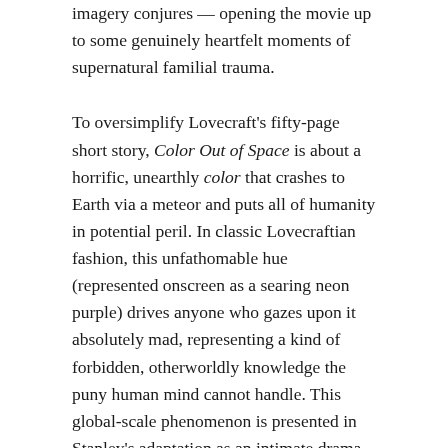imagery conjures — opening the movie up to some genuinely heartfelt moments of supernatural familial trauma.
To oversimplify Lovecraft's fifty-page short story, Color Out of Space is about a horrific, unearthly color that crashes to Earth via a meteor and puts all of humanity in potential peril. In classic Lovecraftian fashion, this unfathomable hue (represented onscreen as a searing neon purple) drives anyone who gazes upon it absolutely mad, representing a kind of forbidden, otherworldly knowledge the puny human mind cannot handle. This global-scale phenomenon is presented in Stanley's adaptation as an intimate drama among a nuclear family unit, with an increasingly unhinged Nicolas Cage centered as its figurehead. Cage's family lives on an isolated alpaca farm (a Mad Libs-style